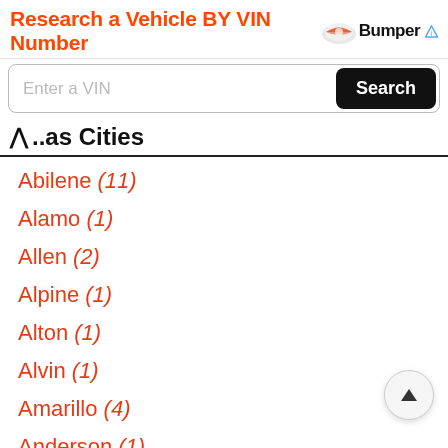[Figure (infographic): Bumper ad banner: 'Research a Vehicle BY VIN Number' with Bumper logo and info icon]
[Figure (screenshot): Search bar with 'Enter a VIN' placeholder and black 'Search' button]
^ ...as Cities
Abilene (11)
Alamo (1)
Allen (2)
Alpine (1)
Alton (1)
Alvin (1)
Amarillo (4)
Anderson (1)
Andrews (1)